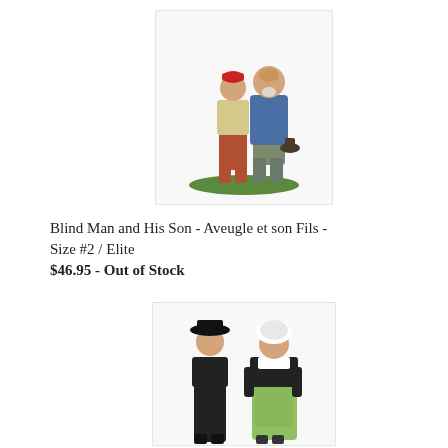[Figure (photo): Ceramic figurine of a blind man and his son – an older bald man with white beard wearing a blue jacket and holding a hat, standing next to a young boy in a red cap and tan shirt with rust-colored pants, both on a green base.]
Blind Man and His Son - Aveugle et son Fils - Size #2 / Elite
$46.95 - Out of Stock
[Figure (photo): Ceramic figurine of a man and woman in traditional Provençal costume – a man in black outfit with wide-brimmed black hat and colorful scarf, and a woman in a black and green dress with a white bonnet, standing together.]